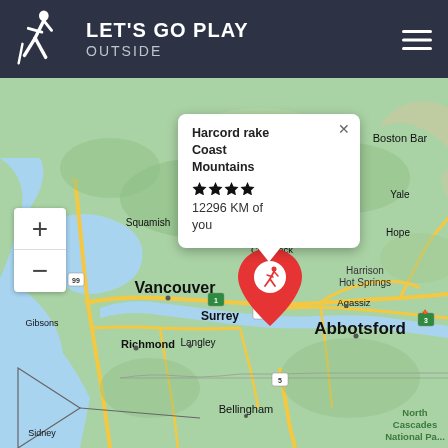LET'S GO PLAY OUTSIDE
[Figure (map): Interactive map showing the Vancouver/British Columbia region with cities labeled: Squamish, Gibsons, Vancouver, Surrey, Richmond, Langley, Abbotsford, Harrison Hot Springs, Hope, Yale, Boston Bar, Agassiz, Chilliwack, Bellingham, Sidney, North Cascades National Park. A red location pin with a hiking icon is placed near Abbotsford. A map popup shows 'Harcord rake / Coast Mountains / 12296 KM of you' with 4-star rating. Zoom in/out controls visible on the left side.]
Harcord rake Coast Mountains 12296 KM of you — 4 stars